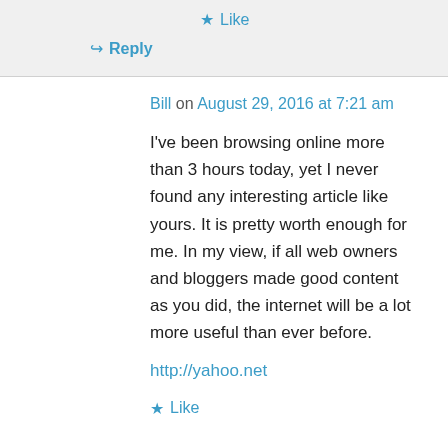★ Like
↪ Reply
Bill on August 29, 2016 at 7:21 am
I've been browsing online more than 3 hours today, yet I never found any interesting article like yours. It is pretty worth enough for me. In my view, if all web owners and bloggers made good content as you did, the internet will be a lot more useful than ever before.
http://yahoo.net
★ Like